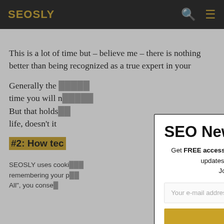SEOSLY
This is a lot of time but – believe me – there is nothing better than being recognized as a true expert in your
Generally the time you will n... But that holds life, doesn't it
#2: How tec
SEOSLY uses cooki remembering your p All", you conse
SEO Newsletter
Get FREE access to my SEO audit templates & get weekly updates with top SEO news & SEO tips. Join 4000+ ambitious SEOs.
Your e-mail address
SUBSCRIBE